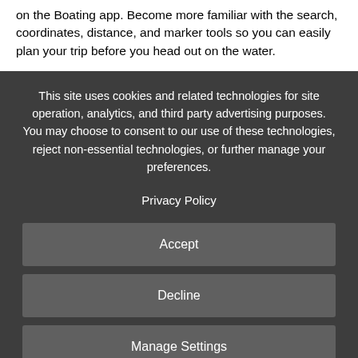on the Boating app. Become more familiar with the search, coordinates, distance, and marker tools so you can easily plan your trip before you head out on the water.
This site uses cookies and related technologies for site operation, analytics, and third party advertising purposes. You may choose to consent to our use of these technologies, reject non-essential technologies, or further manage your preferences.
Privacy Policy
Accept
Decline
Manage Settings